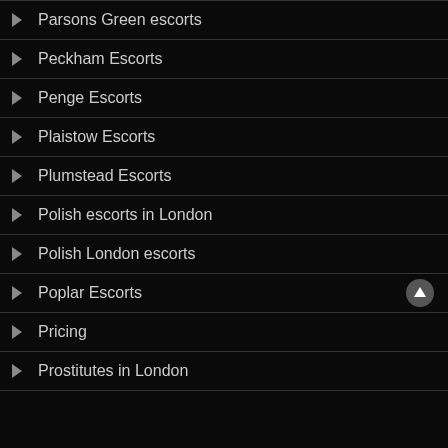Parsons Green escorts
Peckham Escorts
Penge Escorts
Plaistow Escorts
Plumstead Escorts
Polish escorts in London
Polish London escorts
Poplar Escorts
Pricing
Prostitutes in London